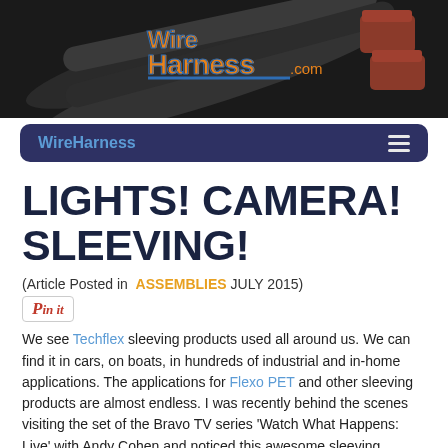[Figure (photo): WireHarness.com website header with logo showing braided wire harnesses and connectors on dark background]
WireHarness  ☰
LIGHTS! CAMERA! SLEEVING!
(Article Posted in  ASSEMBLIES  JULY 2015)
Pin it
We see Techflex sleeving products used all around us. We can find it in cars, on boats, in hundreds of industrial and in-home applications. The applications for Flexo PET and other sleeving products are almost endless. I was recently behind the scenes visiting the set of the Bravo TV series 'Watch What Happens: Live' with Andy Cohen and noticed this awesome sleeving application!